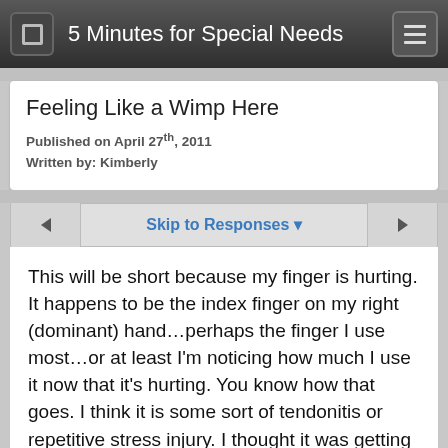5 Minutes for Special Needs
Feeling Like a Wimp Here
Published on April 27th, 2011
Written by: Kimberly
Skip to Responses
This will be short because my finger is hurting. It happens to be the index finger on my right (dominant) hand…perhaps the finger I use most…or at least I'm noticing how much I use it now that it's hurting. You know how that goes. I think it is some sort of tendonitis or repetitive stress injury. I thought it was getting better but last night when I sat down with my laptop to do some writing it went something like this:
tap – ouch – tap tap tap – ouch – tap tap tap mouse – ouch!
So now I have it taped to the middle finger of my right hand so that I can still bend it but it has some support for whatever motions I'm attempting. I'm putting ice on it whenever I have time to try to reduce some inflammation.